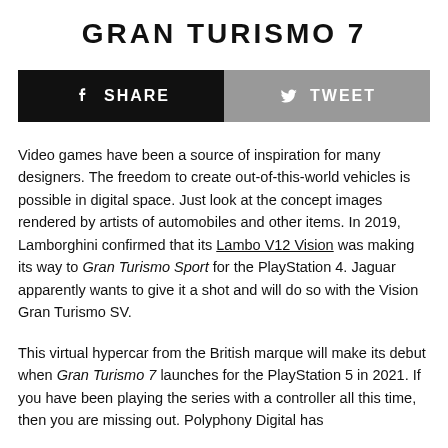GRAN TURISMO 7
[Figure (infographic): Social sharing bar with Facebook Share button (black) and Twitter Tweet button (grey)]
Video games have been a source of inspiration for many designers. The freedom to create out-of-this-world vehicles is possible in digital space. Just look at the concept images rendered by artists of automobiles and other items. In 2019, Lamborghini confirmed that its Lambo V12 Vision was making its way to Gran Turismo Sport for the PlayStation 4. Jaguar apparently wants to give it a shot and will do so with the Vision Gran Turismo SV.
This virtual hypercar from the British marque will make its debut when Gran Turismo 7 launches for the PlayStation 5 in 2021. If you have been playing the series with a controller all this time, then you are missing out. Polyphony Digital has